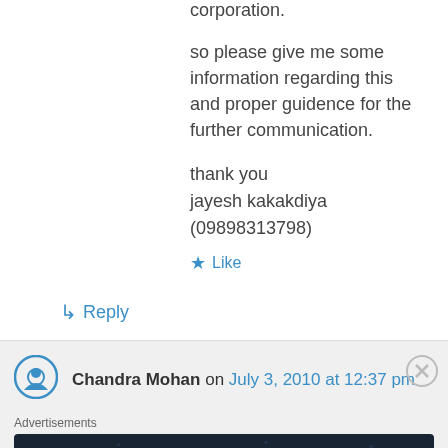corporation.
so please give me some information regarding this and proper guidence for the further communication.
thank you
jayesh kakakdiya
(09898313798)
★ Like
↳ Reply
Chandra Mohan on July 3, 2010 at 12:37 pm
Advertisements
[Figure (screenshot): Advertisement banner: Create surveys, polls, quizzes, and forms. Dark background with WordPress and survey tool logos.]